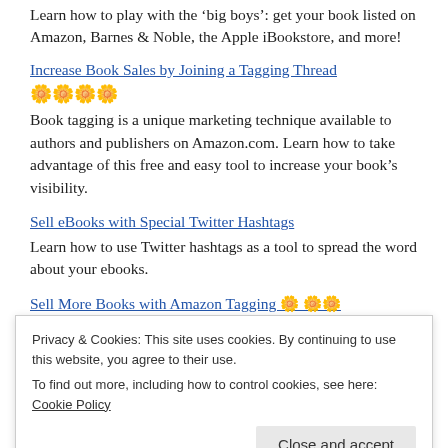Learn how to play with the 'big boys': get your book listed on Amazon, Barnes & Noble, the Apple iBookstore, and more!
Increase Book Sales by Joining a Tagging Thread 🌸🌸🌸🌸
Book tagging is a unique marketing technique available to authors and publishers on Amazon.com. Learn how to take advantage of this free and easy tool to increase your book's visibility.
Sell eBooks with Special Twitter Hashtags
Learn how to use Twitter hashtags as a tool to spread the word about your ebooks.
Sell More Books with Amazon Tagging 🌸🌸🌸
If you're struggling to sell your work on Amazon,
Privacy & Cookies: This site uses cookies. By continuing to use this website, you agree to their use.
To find out more, including how to control cookies, see here: Cookie Policy
authors have done without the help of traditional